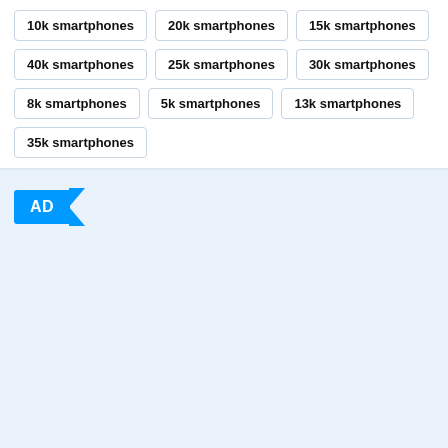10k smartphones
20k smartphones
15k smartphones
40k smartphones
25k smartphones
30k smartphones
8k smartphones
5k smartphones
13k smartphones
35k smartphones
[Figure (other): AD badge/label in blue with arrow shape, indicating an advertisement section below]